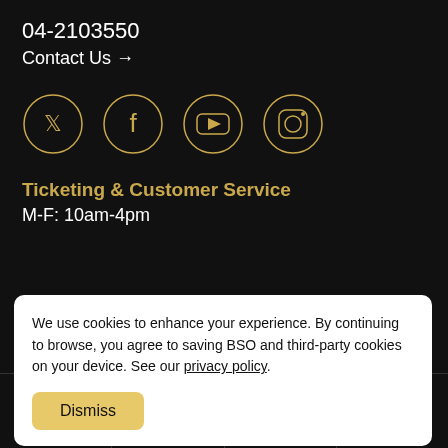04-2103550
Contact Us →
[Figure (illustration): Four social media icons in golden circles: Twitter, Facebook, YouTube, Instagram]
Ticketing & Customer Service
M-F: 10am-4pm
We use cookies to enhance your experience. By continuing to browse, you agree to saving BSO and third-party cookies on your device. See our privacy policy.
Dismiss
Tickets  Listen  Donate  Log In